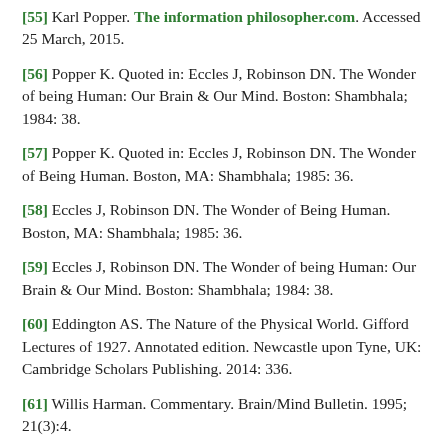[55] Karl Popper. The information philosopher.com. Accessed 25 March, 2015.
[56] Popper K. Quoted in: Eccles J, Robinson DN. The Wonder of being Human: Our Brain & Our Mind. Boston: Shambhala; 1984: 38.
[57] Popper K. Quoted in: Eccles J, Robinson DN. The Wonder of Being Human. Boston, MA: Shambhala; 1985: 36.
[58] Eccles J, Robinson DN. The Wonder of Being Human. Boston, MA: Shambhala; 1985: 36.
[59] Eccles J, Robinson DN. The Wonder of being Human: Our Brain & Our Mind. Boston: Shambhala; 1984: 38.
[60] Eddington AS. The Nature of the Physical World. Gifford Lectures of 1927. Annotated edition. Newcastle upon Tyne, UK: Cambridge Scholars Publishing. 2014: 336.
[61] Willis Harman. Commentary. Brain/Mind Bulletin. 1995; 21(3):4.